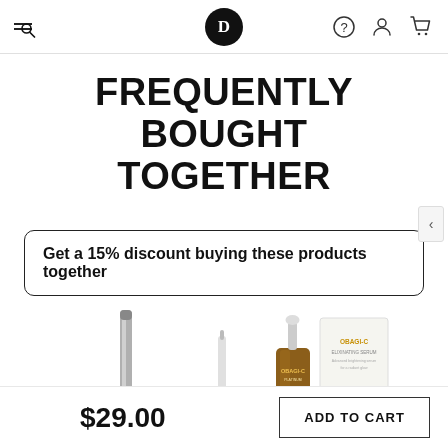D (logo) — navigation header with search, help, account, cart icons
FREQUENTLY BOUGHT TOGETHER
Get a 15% discount buying these products together
[Figure (photo): Three beauty products shown: a slim metallic tube/pen, a small narrow bottle, and an Obagi-C Elixinating Serum amber dropper bottle with white box packaging]
$29.00
ADD TO CART